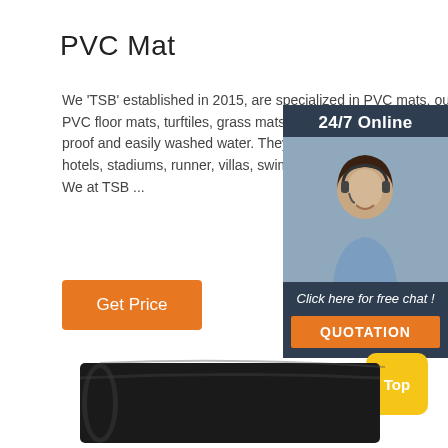PVC Mat
We 'TSB' established in 2015, are specialized in PVC mats, outdoor mats, PVC floor mats, turftiles, grass mats and rubber mats.Our are anti-slip, dust proof and easily washed water. They can be widely used in differen such as hotels, stadiums, runner, villas, swimming pools, garden, restaurant, cars on. We at TSB ...
[Figure (photo): Customer service representative with headset, 24/7 Online chat widget with dark blue background and orange QUOTATION button]
Get Price
[Figure (photo): Rolled black PVC mat shown from the side]
Top